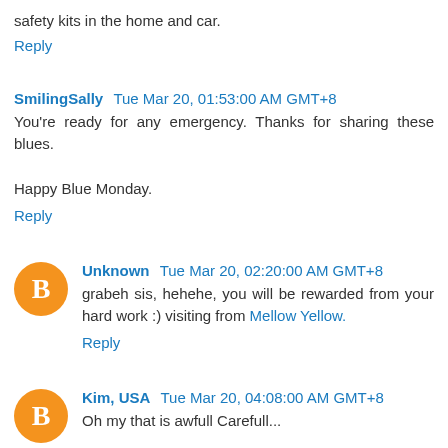safety kits in the home and car.
Reply
SmilingSally  Tue Mar 20, 01:53:00 AM GMT+8
You're ready for any emergency. Thanks for sharing these blues.

Happy Blue Monday.
Reply
Unknown  Tue Mar 20, 02:20:00 AM GMT+8
grabeh sis, hehehe, you will be rewarded from your hard work :) visiting from Mellow Yellow.
Reply
Kim, USA  Tue Mar 20, 04:08:00 AM GMT+8
Oh my that is awfull Carefull...